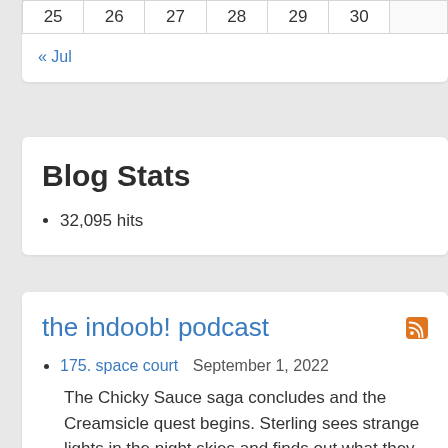| 25 | 26 | 27 | 28 | 29 | 30 |  |
« Jul
Blog Stats
32,095 hits
the indoob! podcast
175. space court   September 1, 2022
The Chicky Sauce saga concludes and the Creamsicle quest begins. Sterling sees strange lights in the night skies and finds out what they are (and now you